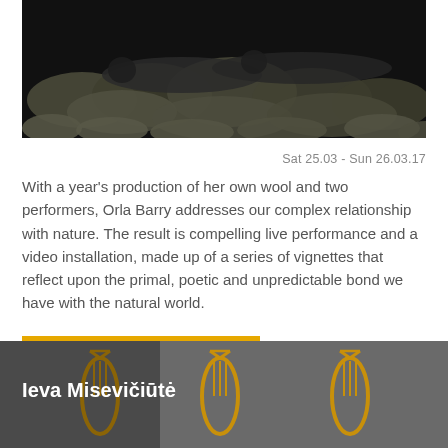[Figure (photo): Two performers lying among large piles of raw wool fleece in a dark setting]
Sat 25.03 - Sun 26.03.17
With a year’s production of her own wool and two performers, Orla Barry addresses our complex relationship with nature. The result is compelling live performance and a video installation, made up of a series of vignettes that reflect upon the primal, poetic and unpredictable bond we have with the natural world.
[Figure (photo): Photo of Ieva Misevičiūtė with decorative golden lyre motifs in background]
Ieva Misevičiūtė